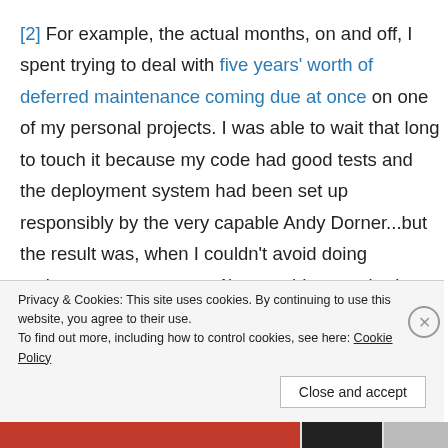[2] For example, the actual months, on and off, I spent trying to deal with five years' worth of deferred maintenance coming due at once on one of my personal projects. I was able to wait that long to touch it because my code had good tests and the deployment system had been set up responsibly by the very capable Andy Dorner...but the result was, when I couldn't avoid doing maintenance any more, 1) everything was broken, and 2) I was dealing with a system I wasn't super familiar with, because I hadn't been the one who set it up, and Andy and I
Privacy & Cookies: This site uses cookies. By continuing to use this website, you agree to their use.
To find out more, including how to control cookies, see here: Cookie Policy